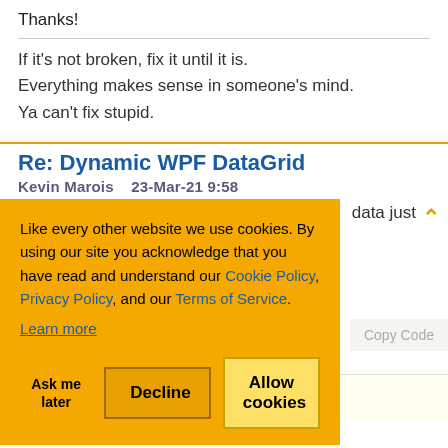Thanks!
If it's not broken, fix it until it is.
Everything makes sense in someone's mind.
Ya can't fix stupid.
Re: Dynamic WPF DataGrid
Kevin Marois    23-Mar-21 9:58
[Figure (screenshot): Cookie consent overlay on orange background with text: 'Like every other website we use cookies. By using our site you acknowledge that you have read and understand our Cookie Policy, Privacy Policy, and our Terms of Service. Learn more' with buttons: Ask me later, Decline, Allow cookies]
data just
Copy Code
ns="False"
ItemsSource="{Binding